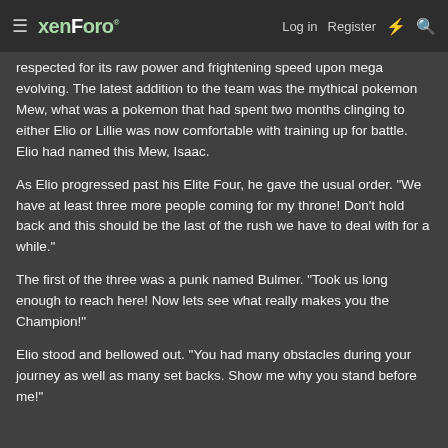xenForo | Log in | Register
respected for its raw power and frightening speed upon mega evolving. The latest addition to the team was the mythical pokemon Mew, what was a pokemon that had spent two months clinging to either Elio or Lillie was now comfortable with training up for battle. Elio had named this Mew, Isaac.
As Elio progressed past his Elite Four, he gave the usual order. "We have at least three more people coming for my throne! Don't hold back and this should be the last of the rush we have to deal with for a while."
The first of the three was a punk named Bulmer. "Took us long enough to reach here! Now lets see what really makes you the Champion!"
Elio stood and bellowed out. "You had many obstacles during your journey as well as many set backs. Show me why you stand before me!"